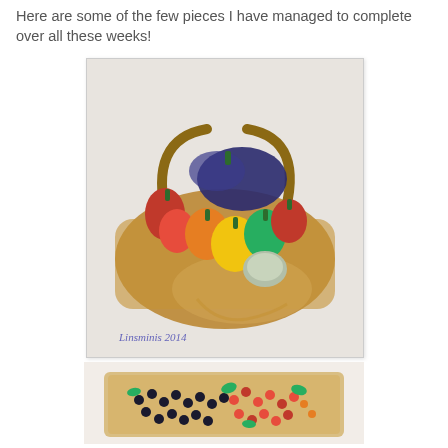Here are some of the few pieces I have managed to complete over all these weeks!
[Figure (photo): A wicker basket filled with miniature polymer clay or fondant vegetables including red, yellow, orange, and green bell peppers, dark eggplant/squash, and other vegetables arranged on burlap. Watermark reads 'Linsminis 2014'.]
[Figure (photo): A burlap-covered tray filled with miniature red berries/strawberries and dark blackberries or blueberries with green leaves, appearing to be handmade miniature food art.]